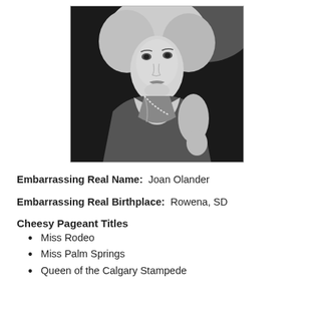[Figure (photo): Black and white portrait photograph of a blonde woman wearing a strapless outfit with a decorative strap, looking slightly off-camera with a glamorous expression.]
Embarrassing Real Name:  Joan Olander
Embarrassing Real Birthplace:  Rowena, SD
Cheesy Pageant Titles
Miss Rodeo
Miss Palm Springs
Queen of the Calgary Stampede